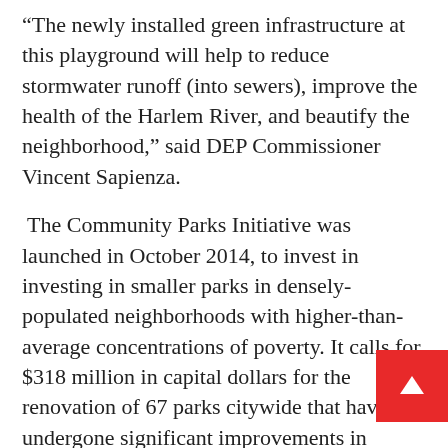“The newly installed green infrastructure at this playground will help to reduce stormwater runoff (into sewers), improve the health of the Harlem River, and beautify the neighborhood,” said DEP Commissioner Vincent Sapienza.
The Community Parks Initiative was launched in October 2014, to invest in investing in smaller parks in densely-populated neighborhoods with higher-than-average concentrations of poverty. It calls for $318 million in capital dollars for the renovation of 67 parks citywide that have not undergone significant improvements in decades.
The playground is named for the Saw Mill Creek, also known as the Mill Brook, which once flowed by th parkland. The creek originated in the North Bron along what is now Brook and Webster Avenues, and